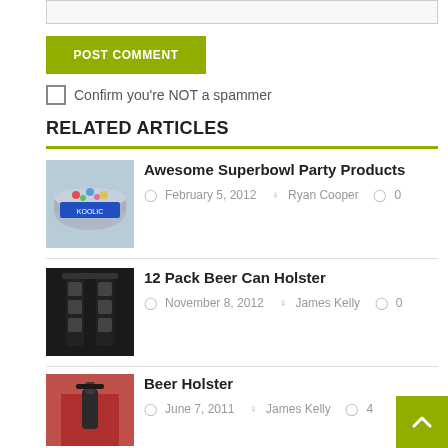[Figure (other): Text input box at top of page]
POST COMMENT
Confirm you're NOT a spammer
RELATED ARTICLES
[Figure (photo): Photo of a party bowl with colorful items for Awesome Superbowl Party Products article]
Awesome Superbowl Party Products
February 5, 2012   Ryan Cooper   0
[Figure (photo): Photo of 12 pack beer can holster product]
12 Pack Beer Can Holster
November 8, 2012   James Kelly   0
[Figure (photo): Photo of a Beer Holster worn by a person]
Beer Holster
June 7, 2011   James Kelly   4